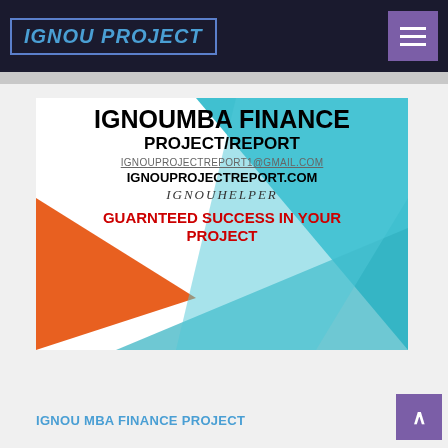IGNOU PROJECT
[Figure (infographic): Promotional banner for IGNOUMBA FINANCE PROJECT/REPORT with orange and blue geometric background, showing email IGNOUPROJECTREPORT1@GMAIL.COM, website IGNOUPROJECTREPORT.COM, handle IGNOUHELPER, and text GUARNTEED SUCCESS IN YOUR PROJECT in red]
IGNOU MBA FINANCE PROJECT